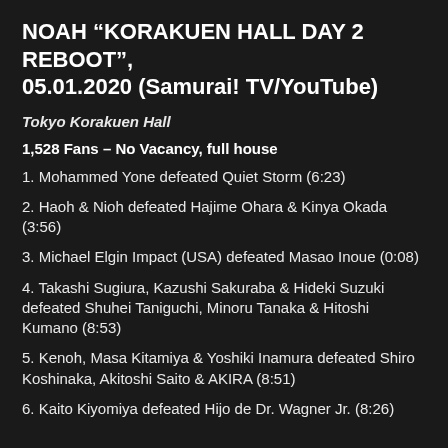NOAH "KORAKUEN HALL DAY 2 REBOOT", 05.01.2020 (Samurai! TV/YouTube)
Tokyo Korakuen Hall
1,528 Fans – No Vacancy, full house
1. Mohammed Yone defeated Quiet Storm (6:23)
2. Haoh & Nioh defeated Hajime Ohara & Kinya Okada (3:56)
3. Michael Elgin Impact (USA) defeated Masao Inoue (0:08)
4. Takashi Sugiura, Kazushi Sakuraba & Hideki Suzuki defeated Shuhei Taniguchi, Minoru Tanaka & Hitoshi Kumano (8:53)
5. Kenoh, Masa Kitamiya & Yoshiki Inamura defeated Shiro Koshinaka, Akitoshi Saito & AKIRA (8:51)
6. Kaito Kiyomiya defeated Hijo de Dr. Wagner Jr. (8:26)